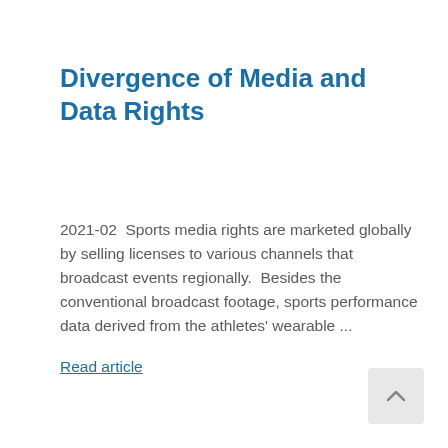Divergence of Media and Data Rights
2021-02  Sports media rights are marketed globally by selling licenses to various channels that broadcast events regionally.  Besides the conventional broadcast footage, sports performance data derived from the athletes' wearable ...
Read article